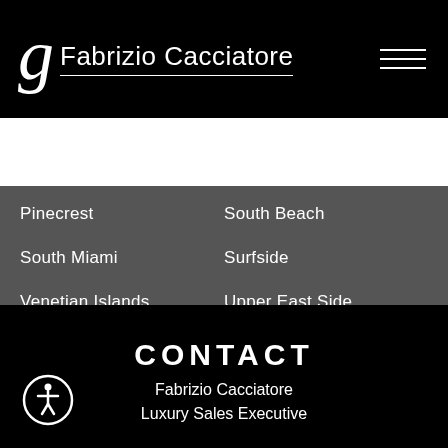Fabrizio Cacciatore
Search by City, Neighborhood, ZIP, Address,
Pinecrest
South Beach
South Miami
Surfside
Venetian Islands
Upper East Side
CONTACT
Fabrizio Cacciatore
Luxury Sales Executive